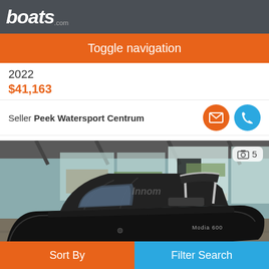boats.com
Toggle navigation
2022
$41,163
Seller Peek Watersport Centrum
[Figure (photo): Black motorboat (Modia 600) displayed inside a covered showroom with large windows. Boat has black canvas cover/bimini top with a windshield, viewed from the side-front angle.]
Sort By
Filter Search